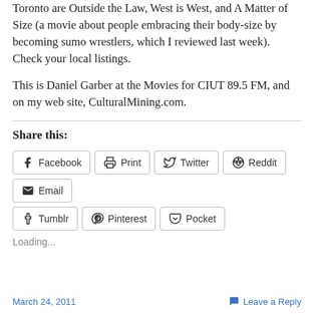Toronto are Outside the Law, West is West, and A Matter of Size (a movie about people embracing their body-size by becoming sumo wrestlers, which I reviewed last week). Check your local listings.
This is Daniel Garber at the Movies for CIUT 89.5 FM, and on my web site, CulturalMining.com.
Share this:
Facebook  Print  Twitter  Reddit  Email  Tumblr  Pinterest  Pocket
Loading...
March 24, 2011    Leave a Reply